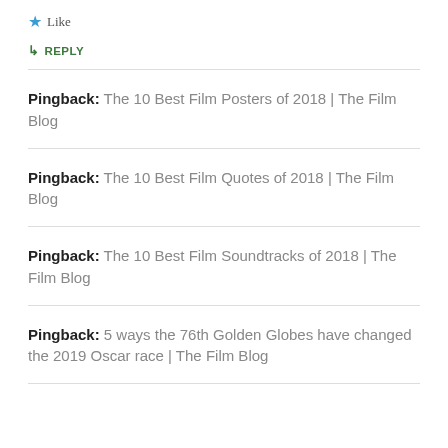★ Like
↳ REPLY
Pingback: The 10 Best Film Posters of 2018 | The Film Blog
Pingback: The 10 Best Film Quotes of 2018 | The Film Blog
Pingback: The 10 Best Film Soundtracks of 2018 | The Film Blog
Pingback: 5 ways the 76th Golden Globes have changed the 2019 Oscar race | The Film Blog